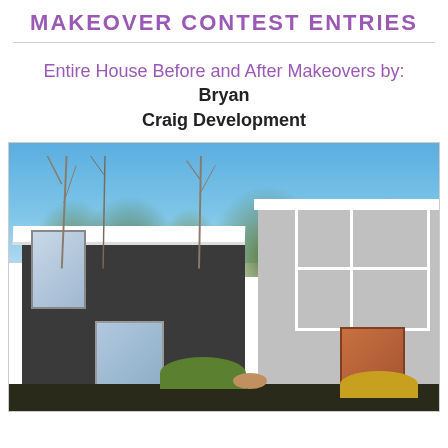MAKEOVER CONTEST ENTRIES
Entire House Before and After Makeovers by: Bryan Craig Development
[Figure (photo): Exterior photograph of a modern house with dark gray siding on the left wing and light gray/white brick on the right wing, featuring large windows, a red door, flat roofline with white trim, trees in background, against a blue sky.]